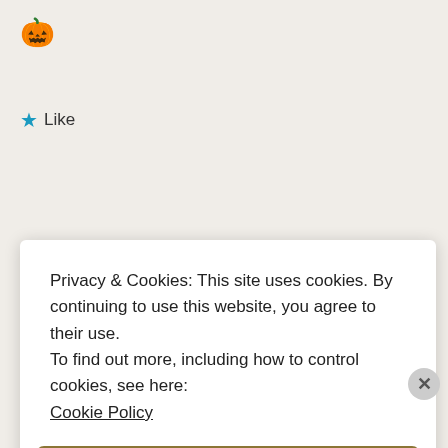[Figure (illustration): Jack-o-lantern pumpkin emoji]
★ Like
Reply
Advertisements
[Figure (screenshot): Advertisement banner with gradient blue-purple background showing 'Simplified pricing for' text in white bold font]
Privacy & Cookies: This site uses cookies. By continuing to use this website, you agree to their use.
To find out more, including how to control cookies, see here:
Cookie Policy
Close and accept